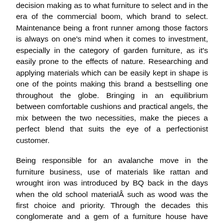decision making as to what furniture to select and in the era of the commercial boom, which brand to select. Maintenance being a front runner among those factors is always on one's mind when it comes to investment, especially in the category of garden furniture, as it's easily prone to the effects of nature. Researching and applying materials which can be easily kept in shape is one of the points making this brand a bestselling one throughout the globe. Bringing in an equilibrium between comfortable cushions and practical angels, the mix between the two necessities, make the pieces a perfect blend that suits the eye of a perfectionist customer.
Being responsible for an avalanche move in the furniture business, use of materials like rattan and wrought iron was introduced by BQ back in the days when the old school materialÂ such as wood was the first choice and priority. Through the decades this conglomerate and a gem of a furniture house have become an incubus of smartly talented minds with their drawing boards spread out in labs to create wallet friendly masterpieces and it has led to its current customer portfolio, with a number of close to seven million clientÃ¨les predominantly in Europe and the neighboringÂ countries.